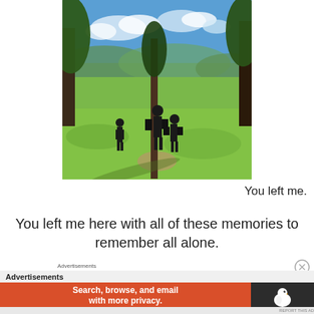[Figure (photo): Outdoor photo of people standing on a grassy hillside with trees and a scenic valley vista in the background under a partly cloudy blue sky.]
You left me.
You left me here with all of these memories to remember all alone.
Advertisements
Advertisements
[Figure (screenshot): DuckDuckGo advertisement banner: orange left side reads 'Search, browse, and email with more privacy. All in One Free App' and dark right side shows DuckDuckGo duck logo and text.]